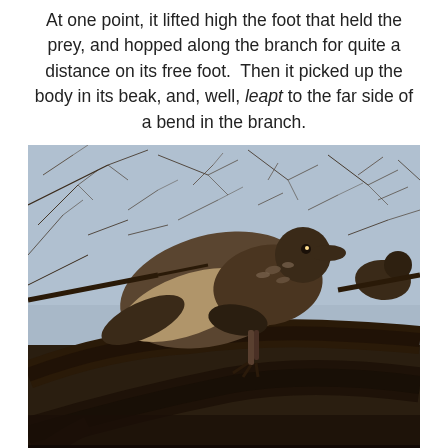At one point, it lifted high the foot that held the prey, and hopped along the branch for quite a distance on its free foot. Then it picked up the body in its beak, and, well, leapt to the far side of a bend in the branch.
[Figure (photo): A bird of prey (hawk) photographed from below, perched and leaping on a large tree branch amid bare winter branches against a blue-grey sky. The bird appears in mid-motion with wings slightly spread.]
Leaping